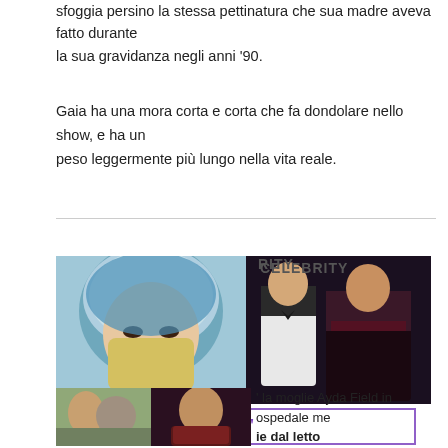sfoggia persino la stessa pettinatura che sua madre aveva fatto durante la sua gravidanza negli anni '90.
Gaia ha una mora corta e corta che fa dondolare nello show, e ha un peso leggermente più lungo nella vita reale.
[Figure (photo): Two overlapping photos: left shows a person wearing a surgical mask and hair net; right shows a man in a tuxedo and a woman in a dark dress at a formal event. Label 'CELEBRITY' visible to the right.]
'FAI CONTROLLATO'
[Figure (photo): Two photos side by side at bottom: left shows two people outdoors; right shows a young man in a red/brown jacket. Text alongside reads: 'la moglie Ayda Field in ospedale me... ie dal letto / Ray Liotta ha tenuto per mano la... / foto strazianti giorni prima della m...']